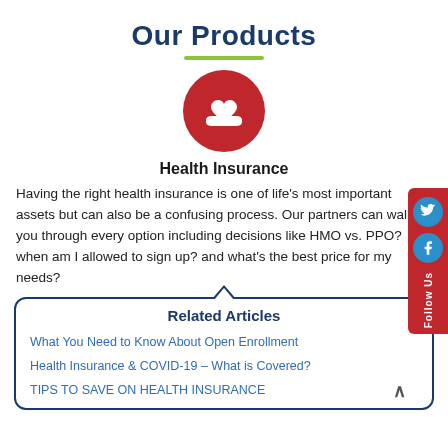Our Products
[Figure (illustration): Red circle icon with a white heart and hand underneath, representing health/care]
Health Insurance
Having the right health insurance is one of life's most important assets but can also be a confusing process. Our partners can walk you through every option including decisions like HMO vs. PPO? when am I allowed to sign up? and what's the best price for my needs?
Related Articles
What You Need to Know About Open Enrollment
Health Insurance & COVID-19 – What is Covered?
TIPS TO SAVE ON HEALTH INSURANCE